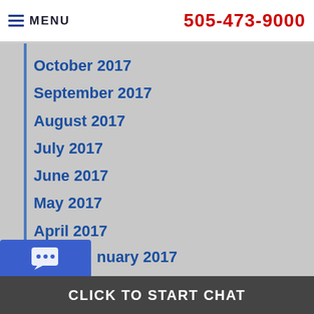MENU  505-473-9000
October 2017
September 2017
August 2017
July 2017
June 2017
May 2017
April 2017
March 2017
February 2017
January 2017
CLICK TO START CHAT